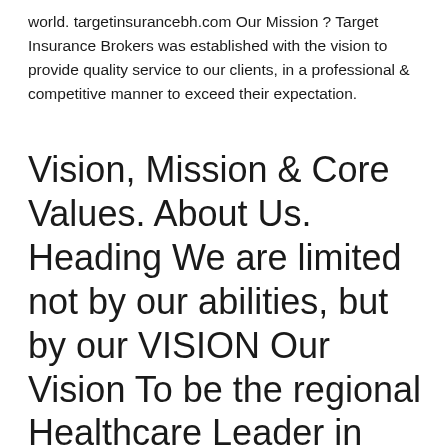world. targetinsurancebh.com Our Mission ? Target Insurance Brokers was established with the vision to provide quality service to our clients, in a professional & competitive manner to exceed their expectation.
Vision, Mission & Core Values. About Us. Heading We are limited not by our abilities, but by our VISION Our Vision To be the regional Healthcare Leader in providing high quality care and services, distinguished by excellence, compassion and innovation. Our Mission. Dar Al Shifa Hospital is a continuously growing organization that strives to